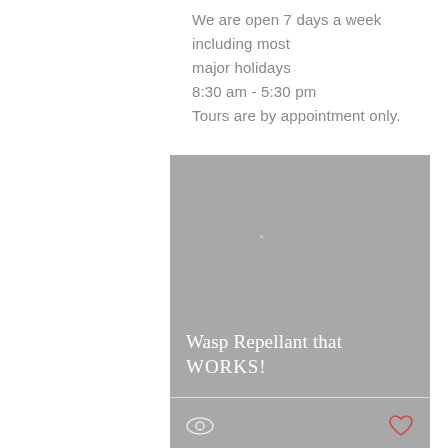We are open 7 days a week including most major holidays
8:30 am - 5:30 pm
Tours are by appointment only.
[Figure (screenshot): Gray image card showing text 'Wasp Repellant that WORKS!' with a horizontal divider line and icons (eye and heart) at the bottom.]